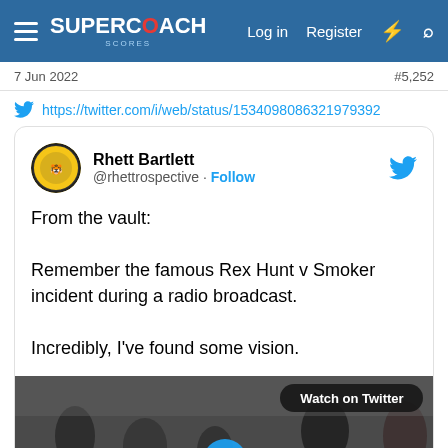SuperCoach Scores — Log in  Register
7 Jun 2022    #5,252
https://twitter.com/i/web/status/1534098086321979392
[Figure (screenshot): Embedded tweet card from @rhettrospective (Rhett Bartlett) with tweet text: 'From the vault:

Remember the famous Rex Hunt v Smoker incident during a radio broadcast.

Incredibly, I've found some vision.' with a video thumbnail showing people in a room and a 'Watch on Twitter' badge.]